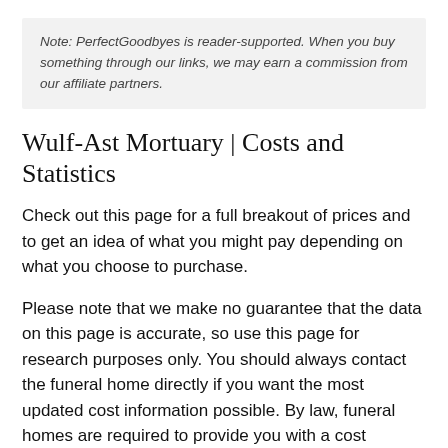Note: PerfectGoodbyes is reader-supported. When you buy something through our links, we may earn a commission from our affiliate partners.
Wulf-Ast Mortuary | Costs and Statistics
Check out this page for a full breakout of prices and to get an idea of what you might pay depending on what you choose to purchase.
Please note that we make no guarantee that the data on this page is accurate, so use this page for research purposes only. You should always contact the funeral home directly if you want the most updated cost information possible. By law, funeral homes are required to provide you with a cost breakdown when you request one.